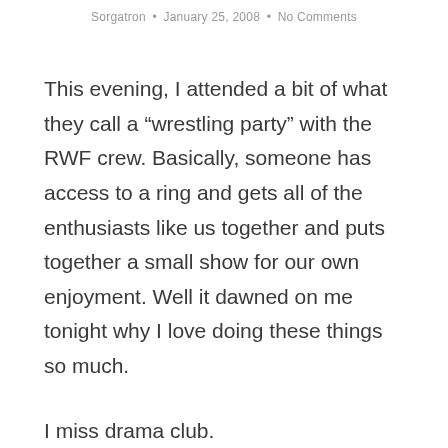Sorgatron • January 25, 2008 • No Comments
This evening, I attended a bit of what they call a “wrestling party” with the RWF crew. Basically, someone has access to a ring and gets all of the enthusiasts like us together and puts together a small show for our own enjoyment. Well it dawned on me tonight why I love doing these things so much.
I miss drama club.
Ok, it wasn’t really a club that I was in. It was just